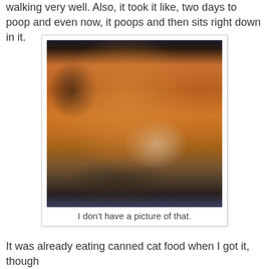walking very well. Also, it took it like, two days to poop and even now, it poops and then sits right down in it.
[Figure (photo): A small orange tabby kitten being held in a person's hand, photographed in dim lighting. The kitten has striped fur, dark blue eyes, and whiskers visible.]
I don't have a picture of that.
It was already eating canned cat food when I got it, though